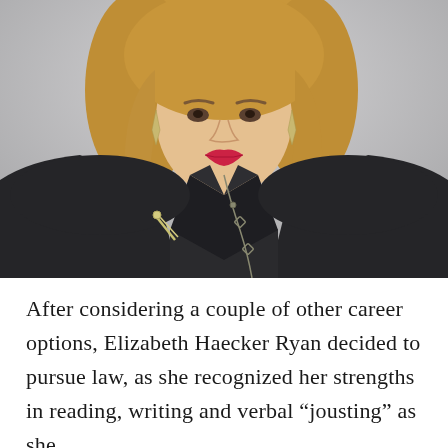[Figure (photo): Professional portrait photo of Elizabeth Haecker Ryan, a woman with blonde hair wearing a dark blazer and long chain necklace with diamond-shaped pendants, against a gray background]
After considering a couple of other career options, Elizabeth Haecker Ryan decided to pursue law, as she recognized her strengths in reading, writing and verbal “jousting” as she